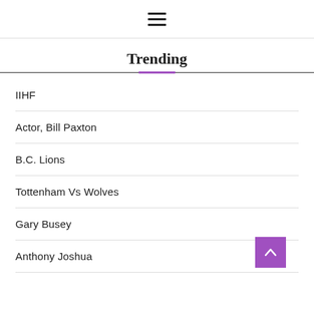☰
Trending
IIHF
Actor, Bill Paxton
B.C. Lions
Tottenham Vs Wolves
Gary Busey
Anthony Joshua